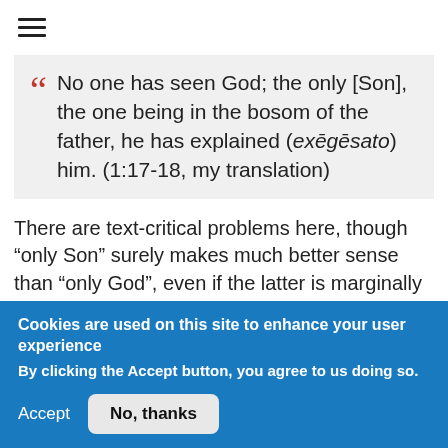[Figure (other): Hamburger menu icon (three horizontal lines)]
No one has seen God; the only [Son], the one being in the bosom of the father, he has explained (exēgēsato) him. (1:17-18, my translation)
There are text-critical problems here, though “only Son” surely makes much better sense than “only God”, even if the latter is marginally better attested. But we still have the assertion that the Son “interprets” or “expounds” the Father. There is a risk of
Cookies are used on this site to enhance your user experience
By clicking the Accept button, you agree to us doing so.
Accept   No, thanks